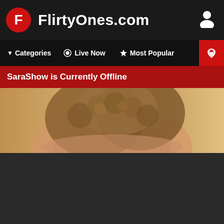FlirtyOnes.com
[Figure (screenshot): Website navigation bar with Categories, Live Now, Most Popular, and hot icon]
SaraShow is Currently Offline
[Figure (photo): Partial view of a person with curly brown hair peeking from the bottom of the frame against a warm wooden background]